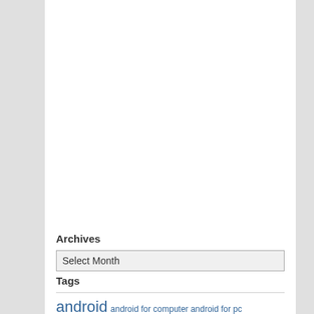Archives
Select Month
Tags
android  android for computer  android for pc  android